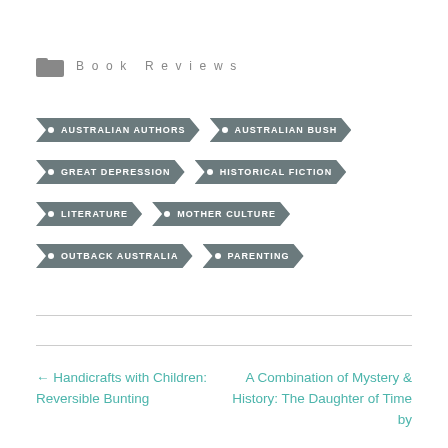Book Reviews
AUSTRALIAN AUTHORS
AUSTRALIAN BUSH
GREAT DEPRESSION
HISTORICAL FICTION
LITERATURE
MOTHER CULTURE
OUTBACK AUSTRALIA
PARENTING
← Handicrafts with Children: Reversible Bunting
A Combination of Mystery & History: The Daughter of Time by